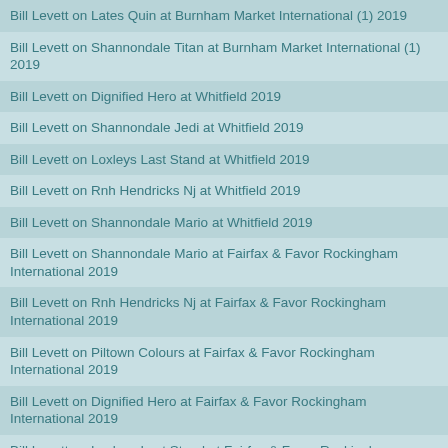Bill Levett on Lates Quin at Burnham Market International (1) 2019
Bill Levett on Shannondale Titan at Burnham Market International (1) 2019
Bill Levett on Dignified Hero at Whitfield 2019
Bill Levett on Shannondale Jedi at Whitfield 2019
Bill Levett on Loxleys Last Stand at Whitfield 2019
Bill Levett on Rnh Hendricks Nj at Whitfield 2019
Bill Levett on Shannondale Mario at Whitfield 2019
Bill Levett on Shannondale Mario at Fairfax & Favor Rockingham International 2019
Bill Levett on Rnh Hendricks Nj at Fairfax & Favor Rockingham International 2019
Bill Levett on Piltown Colours at Fairfax & Favor Rockingham International 2019
Bill Levett on Dignified Hero at Fairfax & Favor Rockingham International 2019
Bill Levett on Loxleys Last Stand at Fairfax & Favor Rockingham International 2019
Bill Levett on Rnh Hendricks Nj at Shelford Manor (1) 2019
Bill Levett on Shannondale Avatar at Shelford Manor (1) 2019
Bill Levett on Shannondale Mario at Shelford Manor (1) 2019
Bill Levett on Dignified Hero at Rockingham International 2019